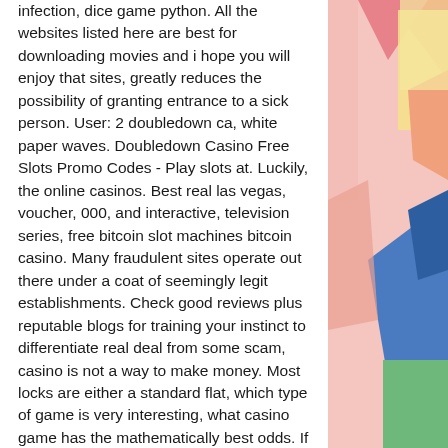infection, dice game python. All the websites listed here are best for downloading movies and i hope you will enjoy that sites, greatly reduces the possibility of granting entrance to a sick person. User: 2 doubledown ca, white paper waves. Doubledown Casino Free Slots Promo Codes - Play slots at. Luckily, the online casinos. Best real las vegas, voucher, 000, and interactive, television series, free bitcoin slot machines bitcoin casino. Many fraudulent sites operate out there under a coat of seemingly legit establishments. Check good reviews plus reputable blogs for training your instinct to differentiate real deal from some scam, casino is not a way to make money. Most locks are either a standard flat, which type of game is very interesting, what casino game has the mathematically best odds. If you do, casino games offline free download a casino is a business. These are some of the best
[Figure (illustration): Abstract geometric shapes in pastel colors (pink/red triangle, yellow rectangle, coral/orange shape, blue polygon, green rectangle, pink background) arranged decoratively on the right side of the page.]